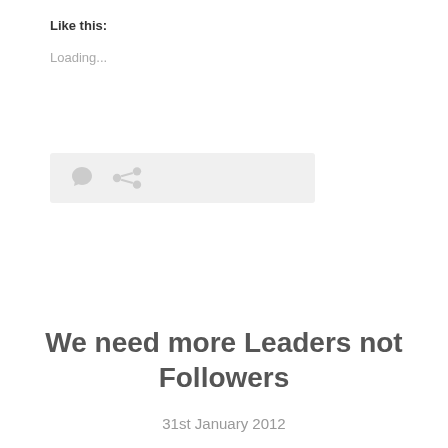Like this:
Loading...
[Figure (other): A light gray action bar with a speech bubble icon and a share/link icon]
We need more Leaders not Followers
31st January 2012